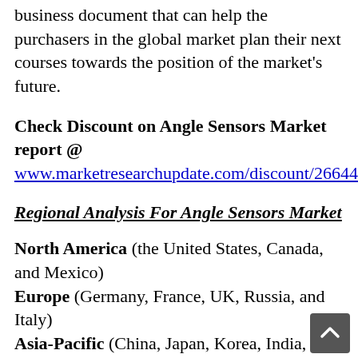business document that can help the purchasers in the global market plan their next courses towards the position of the market's future.
Check Discount on Angle Sensors Market report @ www.marketresearchupdate.com/discount/266446
Regional Analysis For Angle Sensors Market
North America (the United States, Canada, and Mexico)
Europe (Germany, France, UK, Russia, and Italy)
Asia-Pacific (China, Japan, Korea, India, and Southeast Asia)
South America (Brazil, Argentina, Colombia, etc.)